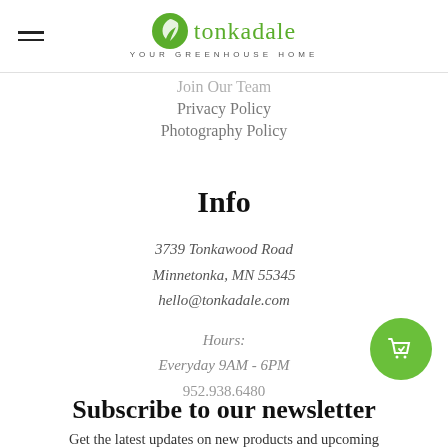tonkadale — YOUR GREENHOUSE HOME
Join Our Team
Privacy Policy
Photography Policy
Info
3739 Tonkawood Road
Minnetonka, MN 55345
hello@tonkadale.com
Hours:
Everyday 9AM - 6PM
952.938.6480
Subscribe to our newsletter
Get the latest updates on new products and upcoming